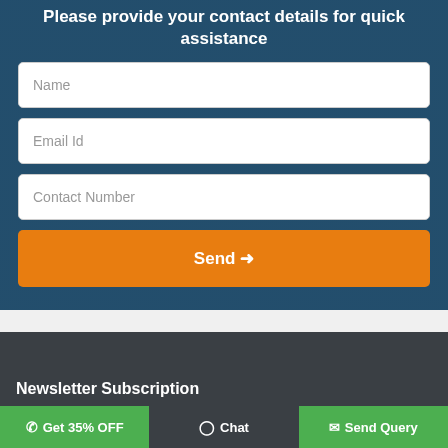Please provide your contact details for quick assistance
Name
Email Id
Contact Number
Send →
Newsletter Subscription
Get 35% OFF
Chat
Send Query